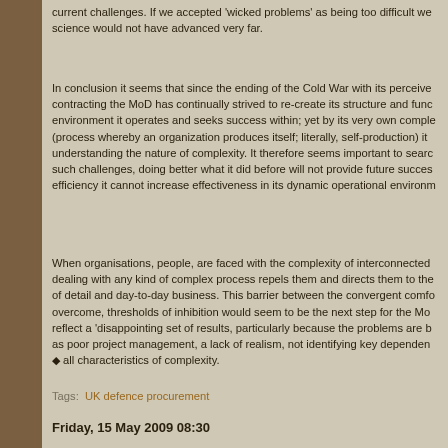current challenges. If we accepted 'wicked problems' as being too difficult we science would not have advanced very far.
In conclusion it seems that since the ending of the Cold War with its perceive contracting the MoD has continually strived to re-create its structure and func environment it operates and seeks success within; yet by its very own comple (process whereby an organization produces itself; literally, self-production) it understanding the nature of complexity. It therefore seems important to searc such challenges, doing better what it did before will not provide future succes efficiency it cannot increase effectiveness in its dynamic operational environm
When organisations, people, are faced with the complexity of interconnected dealing with any kind of complex process repels them and directs them to the of detail and day-to-day business. This barrier between the convergent comfo overcome, thresholds of inhibition would seem to be the next step for the Mo reflect a 'disappointing set of results, particularly because the problems are b as poor project management, a lack of realism, not identifying key dependen ◆ all characteristics of complexity.
Tags:  UK defence procurement
Friday, 15 May 2009 08:30